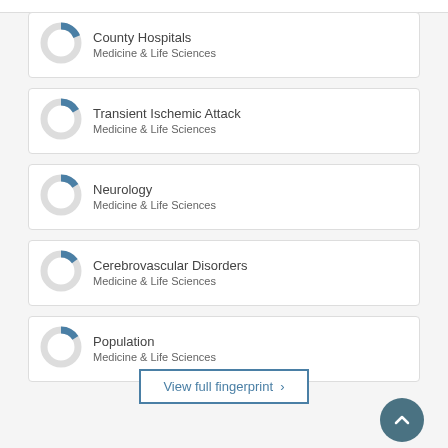County Hospitals — Medicine & Life Sciences
Transient Ischemic Attack — Medicine & Life Sciences
Neurology — Medicine & Life Sciences
Cerebrovascular Disorders — Medicine & Life Sciences
Population — Medicine & Life Sciences
View full fingerprint >